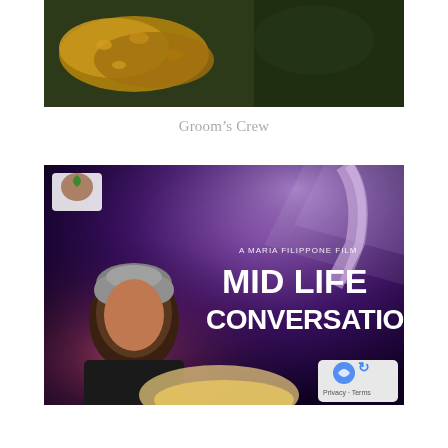[Figure (photo): Top portion of a food/nature photo showing golden-brown textured items (possibly crackers or leaves) on a dark green background. This appears to be the bottom cropped portion of an image above the visible page area.]
Groom’s Crew
[Figure (photo): Movie poster for 'Mid Life Conversations', a Maria Filippone Film. Shows a middle-aged man with curly gray hair in dark clothing leaning close to a blonde woman, in a nightclub/concert setting with purple and pink lighting. Bold white text reads 'MID LIFE CONVERSATIONS' with 'A MARIA FILIPPONE FILM' above. A small reCAPTCHA/Privacy-Terms badge is in the bottom right corner.]